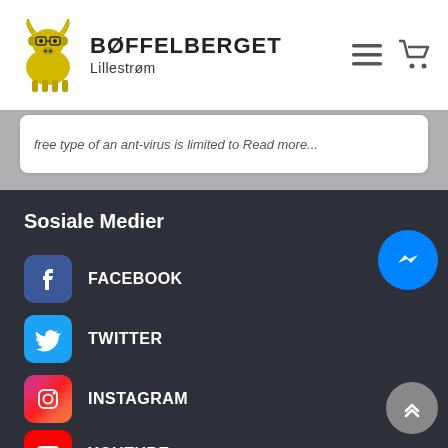BØFFELBERGET Lillestrøm
free type of an ant-virus is limited to Read more...
Sosiale Medier
FACEBOOK
TWITTER
INSTAGRAM
YOUTUBE